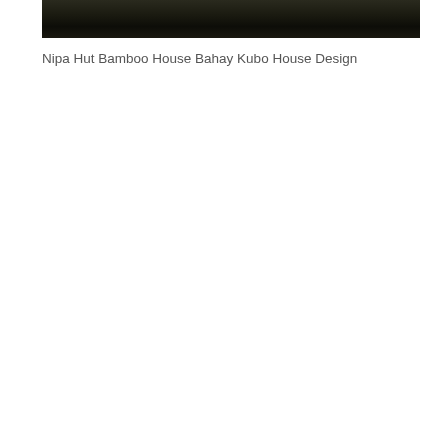[Figure (photo): A dark night-time or very low-light photograph of a Nipa Hut / Bamboo House / Bahay Kubo structure, appearing mostly black and dark brown with minimal detail visible.]
Nipa Hut Bamboo House Bahay Kubo House Design